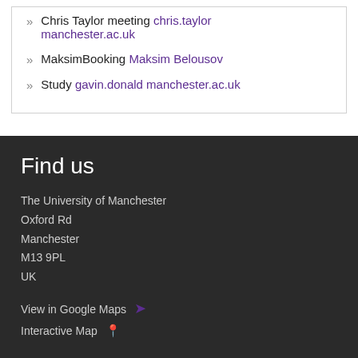Chris Taylor meeting chris.taylor manchester.ac.uk
MaksimBooking Maksim Belousov
Study gavin.donald manchester.ac.uk
Find us
The University of Manchester
Oxford Rd
Manchester
M13 9PL
UK
View in Google Maps
Interactive Map